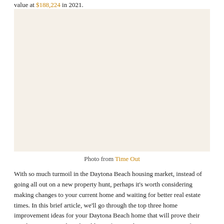value at $188,224 in 2021.
[Figure (photo): Photo placeholder — image of Daytona Beach area]
Photo from Time Out
With so much turmoil in the Daytona Beach housing market, instead of going all out on a new property hunt, perhaps it's worth considering making changes to your current home and waiting for better real estate times. In this brief article, we'll go through the top three home improvement ideas for your Daytona Beach home that will prove their worth over time and might add significant value to your property if you ever decide to sell.